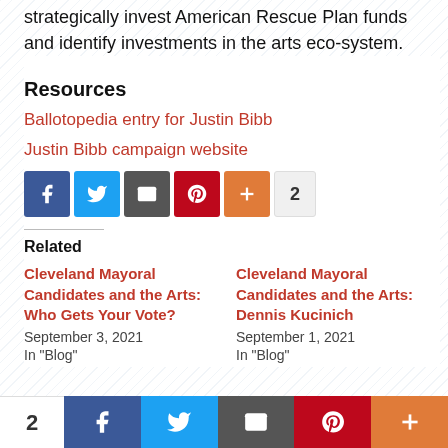strategically invest American Rescue Plan funds and identify investments in the arts eco-system.
Resources
Ballotopedia entry for Justin Bibb
Justin Bibb campaign website
[Figure (infographic): Social sharing buttons: Facebook, Twitter, Email, Pinterest, More (+), count 2]
Related
Cleveland Mayoral Candidates and the Arts: Who Gets Your Vote?
September 3, 2021
In "Blog"
Cleveland Mayoral Candidates and the Arts: Dennis Kucinich
September 1, 2021
In "Blog"
[Figure (infographic): Bottom sticky social sharing bar: count 2, Facebook, Twitter, Email, Pinterest, More (+)]